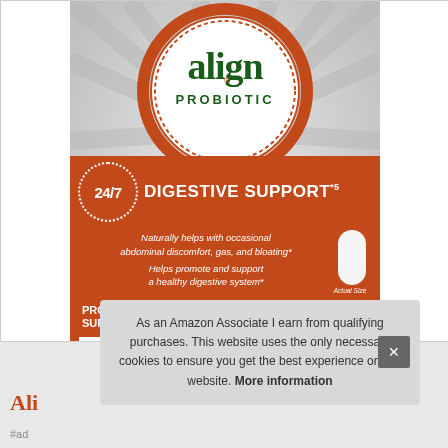[Figure (photo): Align Probiotic supplement product box. Orange circular logo with 'align PROBIOTIC' text at top. Below, an orange banner section showing '24/7 DIGESTIVE SUPPORT*5', italic claims about digestive health, a white capsule image labeled 'Actual Size', 'PROBIOTIC SUPPLEMENT', '63 CAPSULES', and a small disclaimer bar at bottom. Background has radiating silver/grey lines.]
As an Amazon Associate I earn from qualifying purchases. This website uses the only necessary cookies to ensure you get the best experience on our website. More information
Ali
#ad